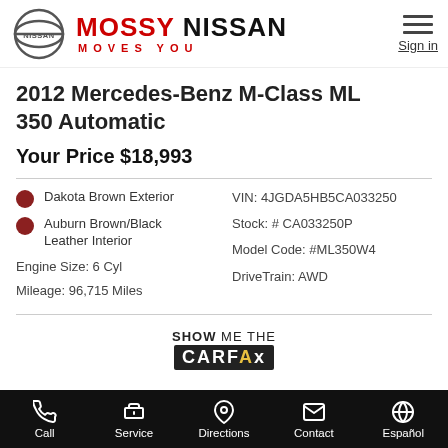[Figure (logo): Mossy Nissan dealership logo with Nissan circle emblem and text MOSSY NISSAN / MOVES YOU]
2012 Mercedes-Benz M-Class ML 350 Automatic
Your Price $18,993
Dakota Brown Exterior
Auburn Brown/Black Leather Interior
Engine Size: 6 Cyl
Mileage: 96,715 Miles
VIN: 4JGDA5HB5CA033250
Stock: # CA033250P
Model Code: #ML350W4
DriveTrain: AWD
[Figure (logo): SHOW ME THE CARFAX badge logo]
Call | Service | Directions | Contact | Español